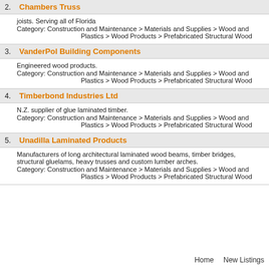2. Chambers Truss
joists. Serving all of Florida
Category: Construction and Maintenance > Materials and Supplies > Wood and Plastics > Wood Products > Prefabricated Structural Wood
3. VanderPol Building Components
Engineered wood products.
Category: Construction and Maintenance > Materials and Supplies > Wood and Plastics > Wood Products > Prefabricated Structural Wood
4. Timberbond Industries Ltd
N.Z. supplier of glue laminated timber.
Category: Construction and Maintenance > Materials and Supplies > Wood and Plastics > Wood Products > Prefabricated Structural Wood
5. Unadilla Laminated Products
Manufacturers of long architectural laminated wood beams, timber bridges, structural gluelams, heavy trusses and custom lumber arches.
Category: Construction and Maintenance > Materials and Supplies > Wood and Plastics > Wood Products > Prefabricated Structural Wood
Home    New Listings